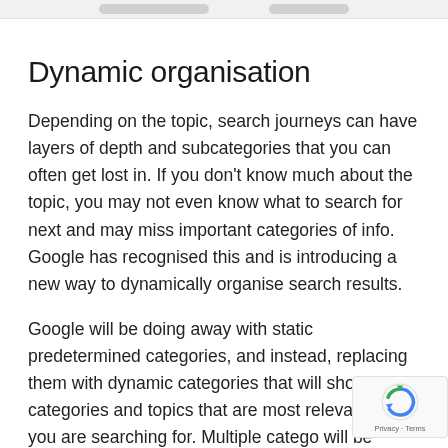Dynamic organisation
Depending on the topic, search journeys can have layers of depth and subcategories that you can often get lost in. If you don't know much about the topic, you may not even know what to search for next and may miss important categories of info. Google has recognised this and is introducing a new way to dynamically organise search results.
Google will be doing away with static predetermined categories, and instead, replacing them with dynamic categories that will show categories and topics that are most relevant what you are searching for. Multiple catego will be presented to you all in one single sea...